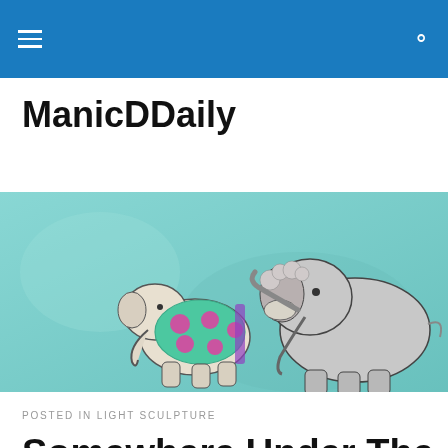ManicDDaily
[Figure (illustration): Watercolor illustration banner showing two cartoon elephants on a teal/turquoise background. The smaller elephant on the left wears a green polka-dot outfit with pink dots. The larger elephant on the right is gray.]
POSTED IN LIGHT SCULPTURE
Somewhere Under The Rainbow?
[Figure (photo): Partial photo at the bottom of the page showing a brown/warm-toned interior scene, cropped.]